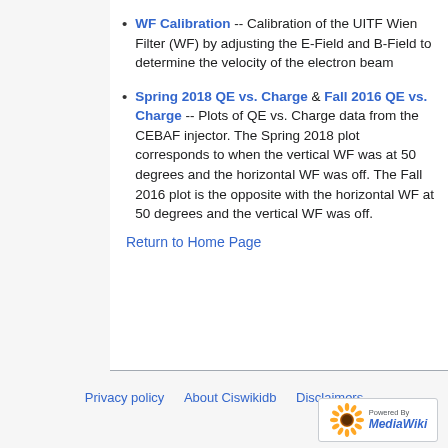WF Calibration -- Calibration of the UITF Wien Filter (WF) by adjusting the E-Field and B-Field to determine the velocity of the electron beam
Spring 2018 QE vs. Charge & Fall 2016 QE vs. Charge -- Plots of QE vs. Charge data from the CEBAF injector. The Spring 2018 plot corresponds to when the vertical WF was at 50 degrees and the horizontal WF was off. The Fall 2016 plot is the opposite with the horizontal WF at 50 degrees and the vertical WF was off.
Return to Home Page
Privacy policy   About Ciswikidb   Disclaimers